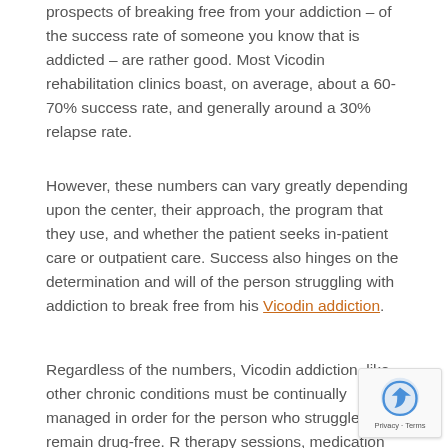prospects of breaking free from your addiction – of the success rate of someone you know that is addicted – are rather good. Most Vicodin rehabilitation clinics boast, on average, about a 60-70% success rate, and generally around a 30% relapse rate.
However, these numbers can vary greatly depending upon the center, their approach, the program that they use, and whether the patient seeks in-patient care or outpatient care. Success also hinges on the determination and will of the person struggling with addiction to break free from his Vicodin addiction.
Regardless of the numbers, Vicodin addiction, like other chronic conditions must be continually managed in order for the person who struggles to remain drug-free. R... therapy sessions, medication management for men... illness, and attending support group meetings are the best